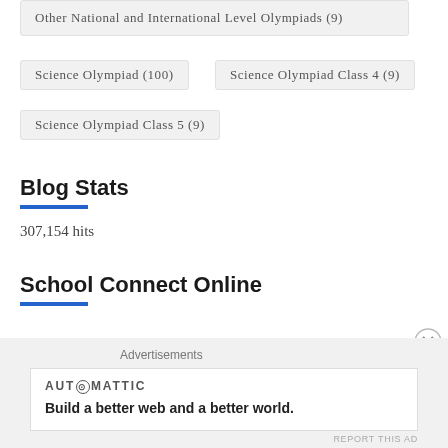Other National and International Level Olympiads (9)
Science Olympiad (100)
Science Olympiad Class 4 (9)
Science Olympiad Class 5 (9)
Blog Stats
307,154 hits
School Connect Online
Advertisements
AUTOMATTIC
Build a better web and a better world.